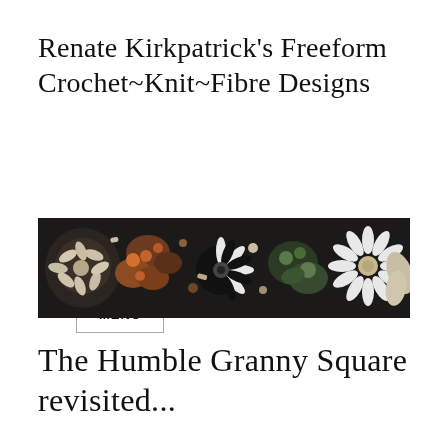Renate Kirkpatrick's Freeform Crochet~Knit~Fibre Designs
MENU
[Figure (photo): Close-up banner photograph of colorful freeform crochet work featuring floral motifs in cream, black, orange, green and brown yarn textures]
The Humble Granny Square revisited...